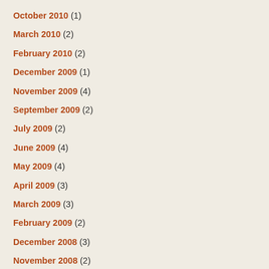October 2010 (1)
March 2010 (2)
February 2010 (2)
December 2009 (1)
November 2009 (4)
September 2009 (2)
July 2009 (2)
June 2009 (4)
May 2009 (4)
April 2009 (3)
March 2009 (3)
February 2009 (2)
December 2008 (3)
November 2008 (2)
October 2008 (1)